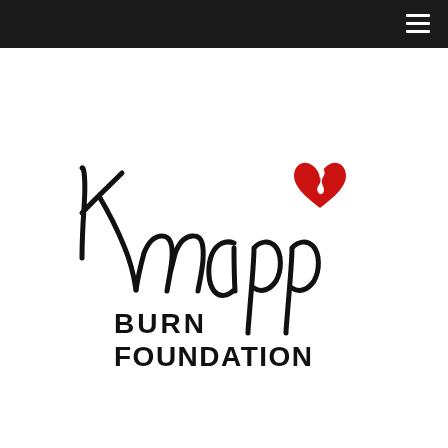[Figure (logo): Knapp Burn Foundation logo: cursive black 'Knapp' script with a red heart containing a white flame symbol, and bold black block text 'BURN FOUNDATION' below]